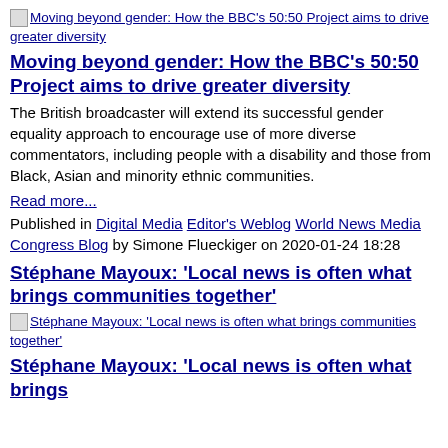[Figure (other): Thumbnail image link: Moving beyond gender: How the BBC's 50:50 Project aims to drive greater diversity]
Moving beyond gender: How the BBC's 50:50 Project aims to drive greater diversity
The British broadcaster will extend its successful gender equality approach to encourage use of more diverse commentators, including people with a disability and those from Black, Asian and minority ethnic communities.
Read more...
Published in Digital Media Editor's Weblog World News Media Congress Blog by Simone Flueckiger on 2020-01-24 18:28
Stéphane Mayoux: 'Local news is often what brings communities together'
[Figure (other): Thumbnail image link: Stéphane Mayoux: 'Local news is often what brings communities together']
Stéphane Mayoux: 'Local news is often what brings